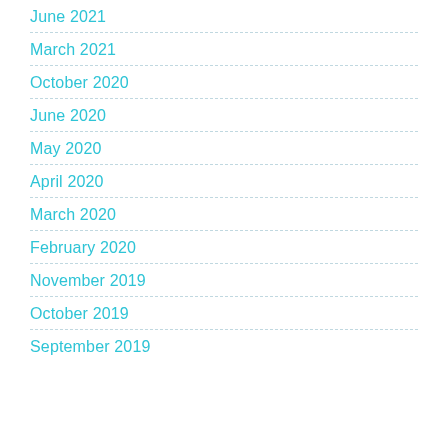June 2021
March 2021
October 2020
June 2020
May 2020
April 2020
March 2020
February 2020
November 2019
October 2019
September 2019